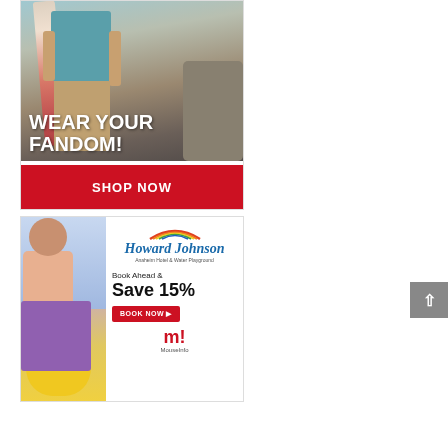[Figure (illustration): Advertisement for fandom merchandise. Shows a man carrying a surfboard on a rocky beach. Bold white text overlay reads 'WEAR YOUR FANDOM!' with a red banner below reading 'SHOP NOW'.]
[Figure (illustration): Advertisement for Howard Johnson Anaheim Hotel & Water Playground. Shows a young girl holding a large yellow rubber duck. Right side shows Howard Johnson logo, 'Book Ahead & Save 15%', a red 'BOOK NOW' button, and the MouseInfo logo.]